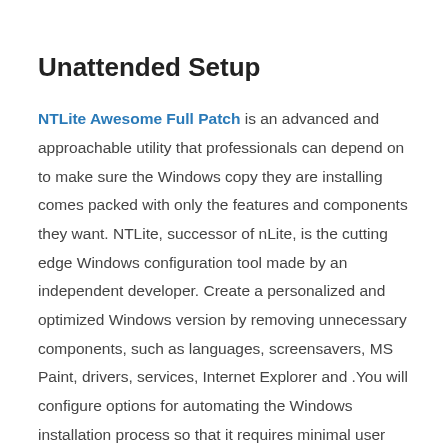Unattended Setup
NTLite Awesome Full Patch is an advanced and approachable utility that professionals can depend on to make sure the Windows copy they are installing comes packed with only the features and components they want. NTLite, successor of nLite, is the cutting edge Windows configuration tool made by an independent developer. Create a personalized and optimized Windows version by removing unnecessary components, such as languages, screensavers, MS Paint, drivers, services, Internet Explorer and .You will configure options for automating the Windows installation process so that it requires minimal user intervention. You can choose, among others. Automatically enter system serial number, computer name, location, user account and default network, omit EULA acceptance, deactivate sending statistics to Microsoft